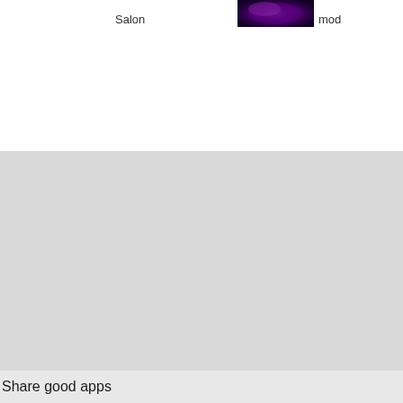Salon
[Figure (photo): A small thumbnail image with purple/dark tones, partially visible at top of page]
mod
Share good apps